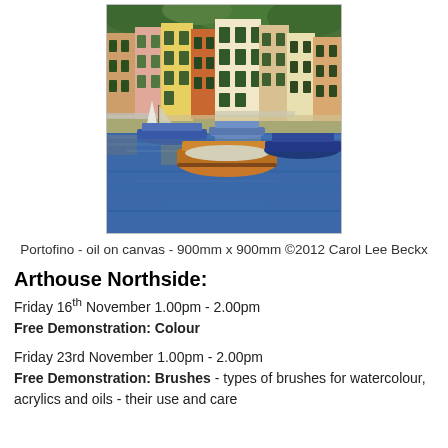[Figure (illustration): Painting of Portofino harbour scene with colourful buildings and boats on blue water, oil on canvas]
Portofino - oil on canvas - 900mm x 900mm ©2012 Carol Lee Beckx
Arthouse Northside:
Friday 16th November 1.00pm - 2.00pm
Free Demonstration: Colour
Friday 23rd November 1.00pm - 2.00pm
Free Demonstration: Brushes - types of brushes for watercolour, acrylics and oils - their use and care